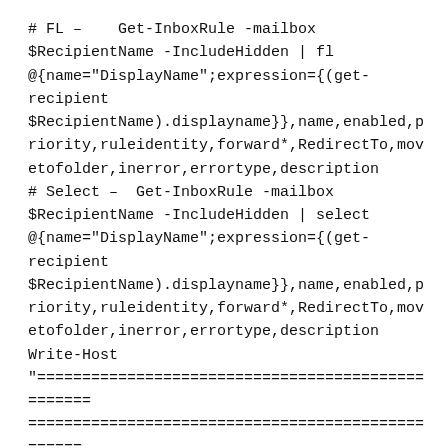# FL –    Get-InboxRule -mailbox $RecipientName -IncludeHidden | fl @{name="DisplayName";expression={(get-recipient $RecipientName).displayname}},name,enabled,priority,ruleidentity,forward*,RedirectTo,movetofolder,inerror,errortype,description
# Select –  Get-InboxRule -mailbox $RecipientName -IncludeHidden | select @{name="DisplayName";expression={(get-recipient $RecipientName).displayname}},name,enabled,priority,ruleidentity,forward*,RedirectTo,movetofolder,inerror,errortype,description
Write-Host
"================================================== ================================================== ==" -ForegroundColor Cyan
$TotalRulesCount = ((Get-InboxRule -mailbox $RecipientName -IncludeHidden | measure-object).count)